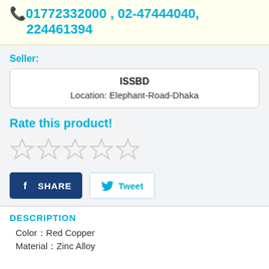01772332000 , 02-47444040, 224461394
Seller:
| ISSBD |
| Location: Elephant-Road-Dhaka |
Rate this product!
[Figure (other): Five empty star rating icons]
[Figure (other): Facebook Share button and Twitter Tweet button]
DESCRIPTION
Color：Red Copper
Material：Zinc Alloy